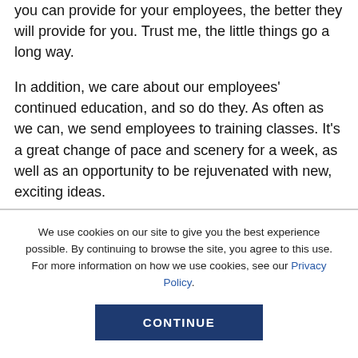you can provide for your employees, the better they will provide for you. Trust me, the little things go a long way.
In addition, we care about our employees' continued education, and so do they. As often as we can, we send employees to training classes. It's a great change of pace and scenery for a week, as well as an opportunity to be rejuvenated with new, exciting ideas.
We follow up after these classes, seminars, and
We use cookies on our site to give you the best experience possible. By continuing to browse the site, you agree to this use. For more information on how we use cookies, see our Privacy Policy.
CONTINUE